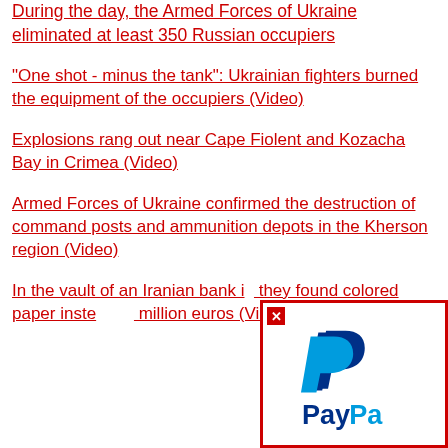During the day, the Armed Forces of Ukraine eliminated at least 350 Russian occupiers
"One shot - minus the tank": Ukrainian fighters burned the equipment of the occupiers (Video)
Explosions rang out near Cape Fiolent and Kozacha Bay in Crimea (Video)
Armed Forces of Ukraine confirmed the destruction of command posts and ammunition depots in the Kherson region (Video)
In the vault of an Iranian bank i... they found colored paper inste... million euros (Video)
[Figure (logo): PayPal logo advertisement overlay with red border and close button]